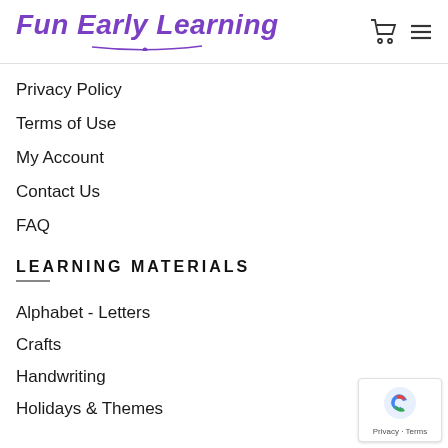Fun Early Learning
Privacy Policy
Terms of Use
My Account
Contact Us
FAQ
LEARNING MATERIALS
Alphabet - Letters
Crafts
Handwriting
Holidays & Themes